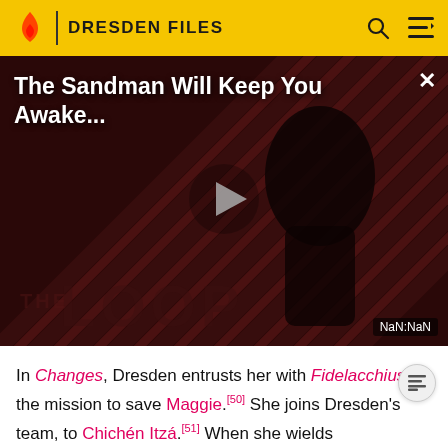DRESDEN FILES
[Figure (screenshot): Video thumbnail with dark red diagonal stripe background, a figure dressed in black, title 'The Sandman Will Keep You Awake...' with a play button overlay. 'THE LOOP' watermark visible. NaN:NaN timestamp shown in lower right.]
In Changes, Dresden entrusts her with Fidelacchius for the mission to save Maggie.[50] She joins Dresden's team, to Chichén Itzá.[51] When she wields Fidelacchius, she screams a cry of defiance against the Lords of Outer